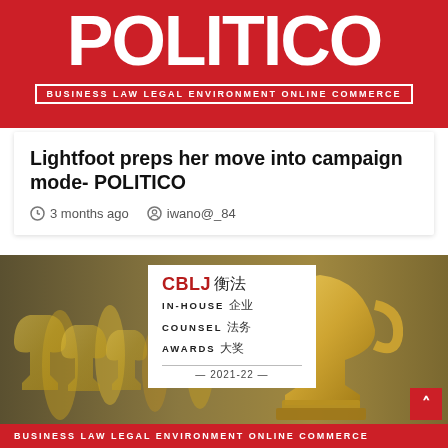POLITICO
BUSINESS LAW LEGAL ENVIRONMENT ONLINE COMMERCE
Lightfoot preps her move into campaign mode- POLITICO
3 months ago   iwano@_84
[Figure (photo): Photo of multiple gold trophy cups lined up in a row with a CBLJ In-House Counsel Awards 2021-22 logo overlay]
BUSINESS LAW LEGAL ENVIRONMENT ONLINE COMMERCE